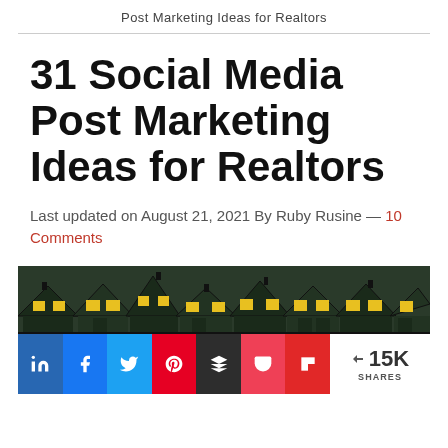Post Marketing Ideas for Realtors
31 Social Media Post Marketing Ideas for Realtors
Last updated on August 21, 2021 By Ruby Rusine — 10 Comments
[Figure (illustration): Illustration of a row of houses with dark green rooftops and yellow lit windows at night, creating a neighborhood silhouette.]
< 15K SHARES (social share bar with LinkedIn, Facebook, Twitter, Pinterest, Buffer, Pocket, Flipboard buttons)